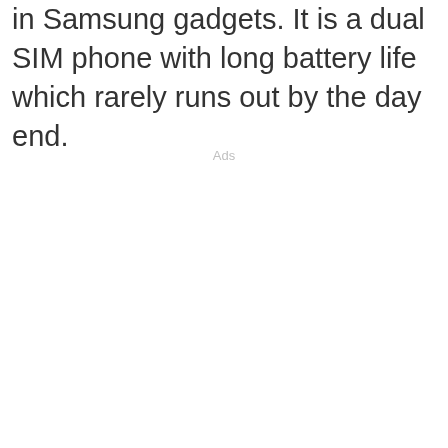in Samsung gadgets. It is a dual SIM phone with long battery life which rarely runs out by the day end.
Ads